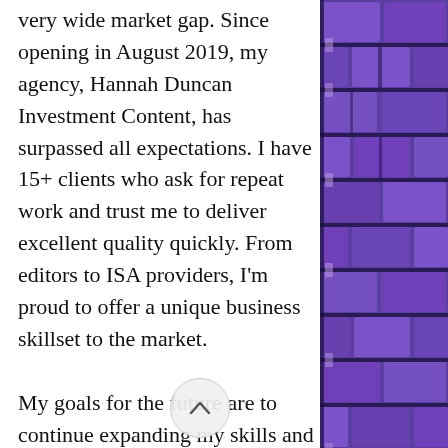very wide market gap. Since opening in August 2019, my agency, Hannah Duncan Investment Content, has surpassed all expectations. I have 15+ clients who ask for repeat work and trust me to deliver excellent quality quickly. From editors to ISA providers, I'm proud to offer a unique business skillset to the market.
My goals for the future are to continue expanding my skills and learning. While I write for many different clients including art galleries, sixth form colleges and hotels, wealth management and fintech is my home. I plan to
[Figure (photo): A purple brick wall pattern occupying the right side of the page, with dark mortar lines creating a grid of purple bricks in varying shades.]